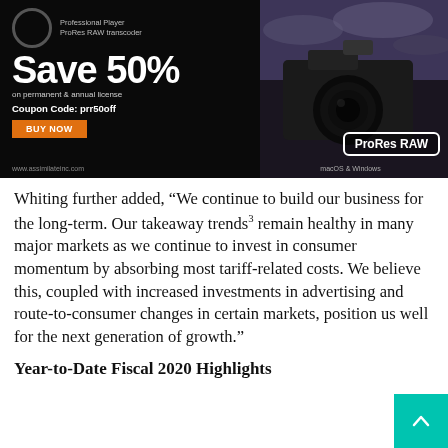[Figure (photo): Advertisement banner for Assimilate ProRes RAW transcoder. Black background with large white text 'Save 50%' on permanent & annual license, coupon code prr50off, orange BUY NOW button, and a photo of a professional camera on the right side with ProRes RAW badge and macOS & Windows text.]
Whiting further added, “We continue to build our business for the long-term. Our takeaway trends³ remain healthy in many major markets as we continue to invest in consumer momentum by absorbing most tariff-related costs. We believe this, coupled with increased investments in advertising and route-to-consumer changes in certain markets, position us well for the next generation of growth.”
Year-to-Date Fiscal 2020 Highlights